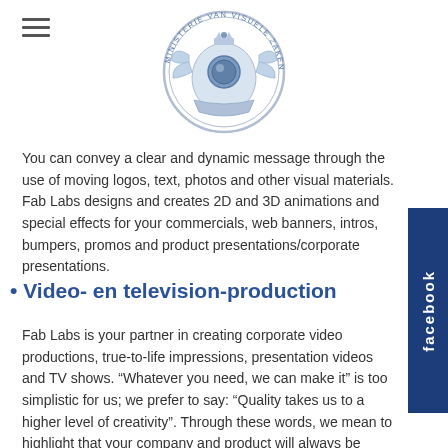[Figure (logo): Circular heraldic emblem/seal with text 'MINISTERIE VAN VISUELE ZAKEN' around the edge, featuring a crown and decorative elements in silver/blue tones]
You can convey a clear and dynamic message through the use of moving logos, text, photos and other visual materials. Fab Labs designs and creates 2D and 3D animations and special effects for your commercials, web banners, intros, bumpers, promos and product presentations/corporate presentations.
• Video- en television-production
Fab Labs is your partner in creating corporate video productions, true-to-life impressions, presentation videos and TV shows. “Whatever you need, we can make it” is too simplistic for us; we prefer to say: “Quality takes us to a higher level of creativity”. Through these words, we mean to highlight that your company and product will always be central in a creative process where only a high-quality,